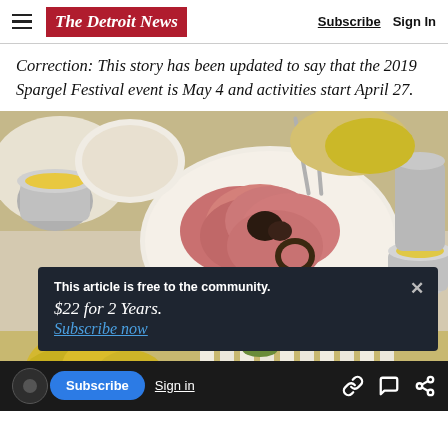The Detroit News — Subscribe | Sign In
Correction: This story has been updated to say that the 2019 Spargel Festival event is May 4 and activities start April 27.
[Figure (photo): Food photograph showing a plate of sliced ham/charcuterie and white asparagus with yellow potatoes on a table with silverware and sauce dishes.]
This article is free to the community. $22 for 2 Years. Subscribe now
Subscribe | Sign in